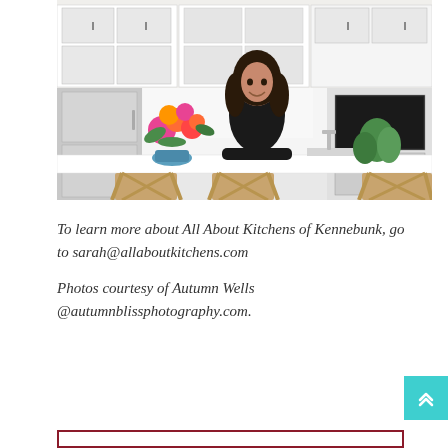[Figure (photo): A woman in a black top standing behind a white kitchen island with bar stools. The kitchen has white cabinetry with glass doors, a stainless steel refrigerator, built-in oven, and a colorful flower arrangement on the counter.]
To learn more about All About Kitchens of Kennebunk, go to sarah@allaboutkitchens.com
Photos courtesy of Autumn Wells @autumnblissphotography.com.